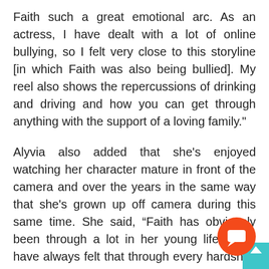Faith such a great emotional arc. As an actress, I have dealt with a lot of online bullying, so I felt very close to this storyline [in which Faith was also being bullied]. My reel also shows the repercussions of drinking and driving and how you can get through anything with the support of a loving family."
Alyvia also added that she's enjoyed watching her character mature in front of the camera and over the years in the same way that she's grown up off camera during this same time. She said, “Faith has obviously been through a lot in her young life. But I have always felt that through every hardship, she has grown emotionally. By the end of last year, Faith understood that what she did was wrong, and she matured beca... it. I have loved every minute of Faith's journ...
[Figure (other): Orange circular chat/comment button with white speech bubble icon, overlapping a teal square up-arrow button in the bottom-right corner.]